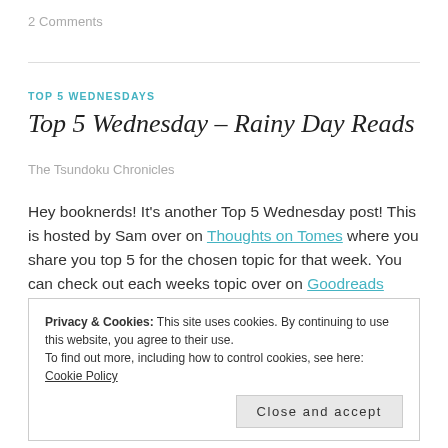2 Comments
TOP 5 WEDNESDAYS
Top 5 Wednesday - Rainy Day Reads
The Tsundoku Chronicles
Hey booknerds! It's another Top 5 Wednesday post! This is hosted by Sam over on Thoughts on Tomes where you share you top 5 for the chosen topic for that week. You can check out each weeks topic over on Goodreads
Privacy & Cookies: This site uses cookies. By continuing to use this website, you agree to their use. To find out more, including how to control cookies, see here: Cookie Policy
Close and accept
cosied up on the sofa or bed with a cup of tea and a